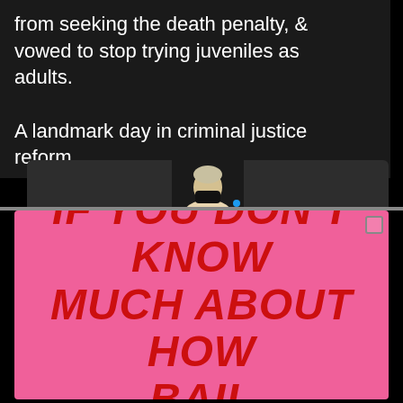from seeking the death penalty, & vowed to stop trying juveniles as adults.

A landmark day in criminal justice reform.
[Figure (photo): A person with gray/blonde hair wearing a black face mask, shown from shoulders up against a dark background, embedded as a media preview in a tweet.]
[Figure (photo): A pink protest sign with large bold red italic lettering reading: IF YOU DON'T KNOW MUCH ABOUT HOW BAIL]